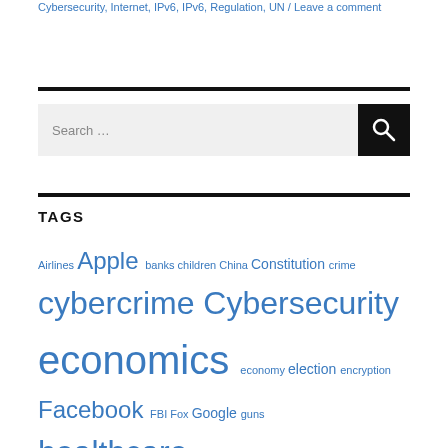Cybersecurity, Internet, IPv6, IPv6, Regulation, UN / Leave a comment
TAGS
Airlines Apple banks children China Constitution crime cybercrime Cybersecurity economics economy election encryption Facebook FBI Fox Google guns healthcare Identity IETF Internet IoT IoT security iPhone IPv4 IPv6 Israel ITI... Obama... children... Politics